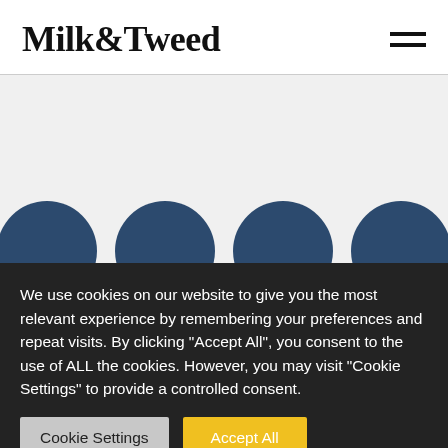Milk&Tweed
[Figure (screenshot): Partially visible website content area with large dark circular social media icons partially visible at the bottom of the content area]
We use cookies on our website to give you the most relevant experience by remembering your preferences and repeat visits. By clicking "Accept All", you consent to the use of ALL the cookies. However, you may visit "Cookie Settings" to provide a controlled consent.
Cookie Settings
Accept All